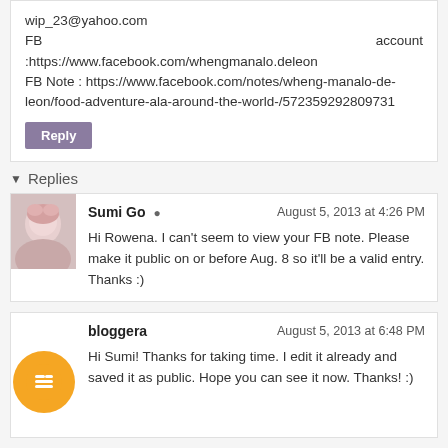wip_23@yahoo.com
FB account :https://www.facebook.com/whengmanalo.deleon
FB Note : https://www.facebook.com/notes/wheng-manalo-de-leon/food-adventure-ala-around-the-world-/572359292809731
Reply
Replies
Sumi Go
August 5, 2013 at 4:26 PM
Hi Rowena. I can't seem to view your FB note. Please make it public on or before Aug. 8 so it'll be a valid entry. Thanks :)
bloggera
August 5, 2013 at 6:48 PM
Hi Sumi! Thanks for taking time. I edit it already and saved it as public. Hope you can see it now. Thanks! :)